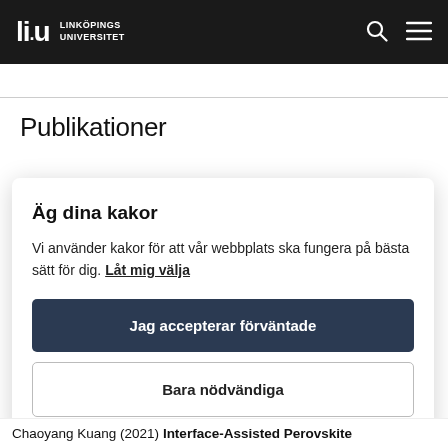Linköpings Universitet
Publikationer
Äg dina kakor
Vi använder kakor för att vår webbplats ska fungera på bästa sätt för dig. Låt mig välja
Jag accepterar förväntade
Bara nödvändiga
Chaoyang Kuang (2021) Interface-Assisted Perovskite